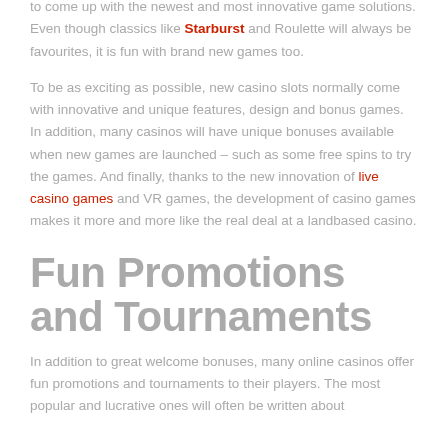to come up with the newest and most innovative game solutions. Even though classics like Starburst and Roulette will always be favourites, it is fun with brand new games too.
To be as exciting as possible, new casino slots normally come with innovative and unique features, design and bonus games. In addition, many casinos will have unique bonuses available when new games are launched – such as some free spins to try the games. And finally, thanks to the new innovation of live casino games and VR games, the development of casino games makes it more and more like the real deal at a landbased casino.
Fun Promotions and Tournaments
In addition to great welcome bonuses, many online casinos offer fun promotions and tournaments to their players. The most popular and lucrative ones will often be written about